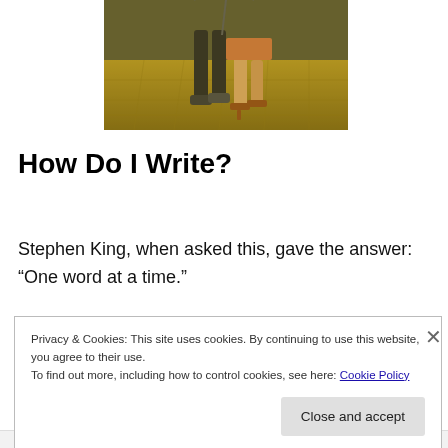[Figure (photo): Cropped photo showing legs of two people dancing on a wet stone/tile floor with a golden-yellow toned filter. One person wears dark pants and sneakers, the other wears a short skirt and heels.]
How Do I Write?
Stephen King, when asked this, gave the answer: “One word at a time.”
Privacy & Cookies: This site uses cookies. By continuing to use this website, you agree to their use.
To find out more, including how to control cookies, see here: Cookie Policy